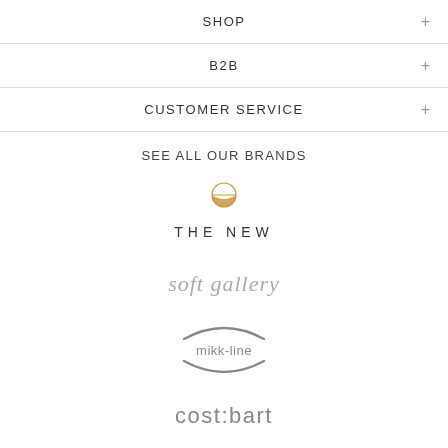SHOP
B2B
CUSTOMER SERVICE
SEE ALL OUR BRANDS
[Figure (logo): THE NEW brand logo with a golden sun/half-circle icon above the text THE NEW]
[Figure (logo): soft gallery brand logo in grey italic/script font]
[Figure (logo): mikk-line brand logo with curved arc above and below the text mikk-line]
[Figure (logo): cost:bart brand logo in grey lowercase letters]